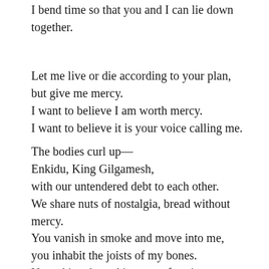I bend time so that you and I can lie down together.
Let me live or die according to your plan,
but give me mercy.
I want to believe I am worth mercy.
I want to believe it is your voice calling me.
The bodies curl up—
Enkidu, King Gilgamesh,
with our untendered debt to each other.
We share nuts of nostalgia, bread without mercy.
You vanish in smoke and move into me,
you inhabit the joists of my bones.
Not asking, but taking, transforming,